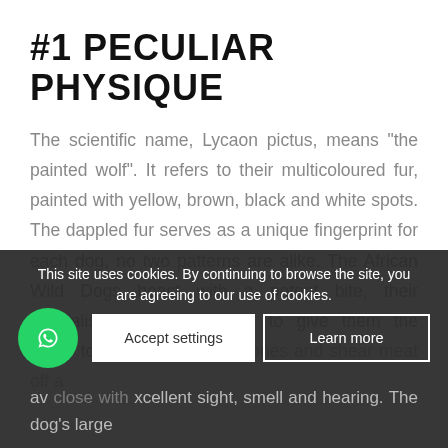#1 PECULIAR PHYSIQUE
The scientific name, Lycaon pictus, means “the painted wolf”. It refers to their multicoloured fur, painted with yellow, brown, black and white spots. The dappled fur serves as a unique fingerprint for each dog, no two patterns are alike. The African Wild Dogs boast with a potent bite, their specialised molars evolved to give them the ability to effortlessly break bones and shear meat off a
This site uses cookies. By continuing to browse the site, you are agreeing to our use of cookies.
Accept settings
Learn more